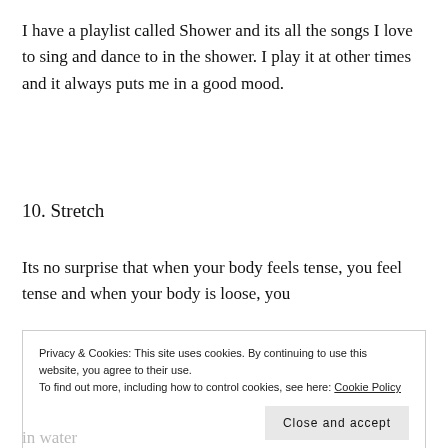I have a playlist called Shower and its all the songs I love to sing and dance to in the shower. I play it at other times and it always puts me in a good mood.
10. Stretch
Its no surprise that when your body feels tense, you feel tense and when your body is loose, you
Privacy & Cookies: This site uses cookies. By continuing to use this website, you agree to their use.
To find out more, including how to control cookies, see here: Cookie Policy
Close and accept
in water